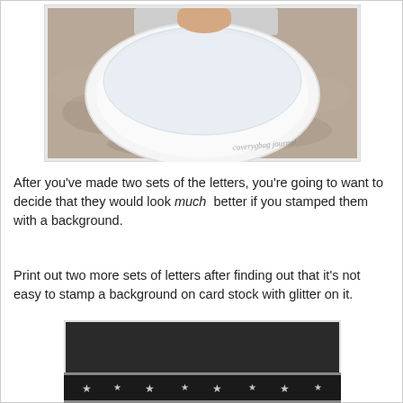[Figure (photo): Photo of a white plate being held with a plastic bag over it, on a granite countertop. A handwritten watermark is visible in the lower right corner.]
After you've made two sets of the letters, you're going to want to decide that they would look much better if you stamped them with a background.
Print out two more sets of letters after finding out that it's not easy to stamp a background on card stock with glitter on it.
[Figure (photo): Photo of a white painted pumpkin with diamond-shaped letter tiles spelling 'TREATS' attached around its middle, decorated with a black fabric ribbon and silver stars at the top. A handwritten watermark is visible in the lower right corner.]